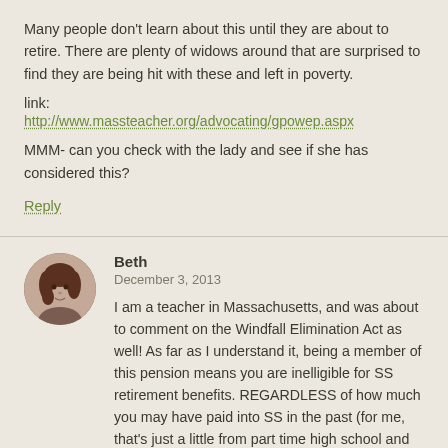Many people don't learn about this until they are about to retire. There are plenty of widows around that are surprised to find they are being hit with these and left in poverty.
link:
http://www.massteacher.org/advocating/gpowep.aspx
MMM- can you check with the lady and see if she has considered this?
Reply
Beth
December 3, 2013
[Figure (photo): Round avatar photo of a woman named Beth with brown hair]
I am a teacher in Massachusetts, and was about to comment on the Windfall Elimination Act as well! As far as I understand it, being a member of this pension means you are inelligible for SS retirement benefits. REGARDLESS of how much you may have paid into SS in the past (for me, that's just a little from part time high school and college gigs). But for CF, I wonder if that pension will be worth the SS loss at the end of the day. Given her age and years teaching, her pension might only be 50-60% of her